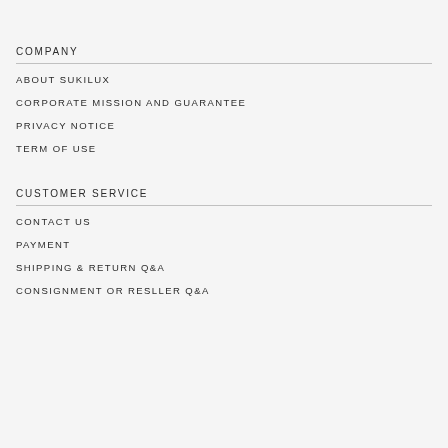COMPANY
ABOUT SUKILUX
CORPORATE MISSION AND GUARANTEE
PRIVACY NOTICE
TERM OF USE
CUSTOMER SERVICE
CONTACT US
PAYMENT
SHIPPING & RETURN Q&A
CONSIGNMENT OR RESLLER Q&A